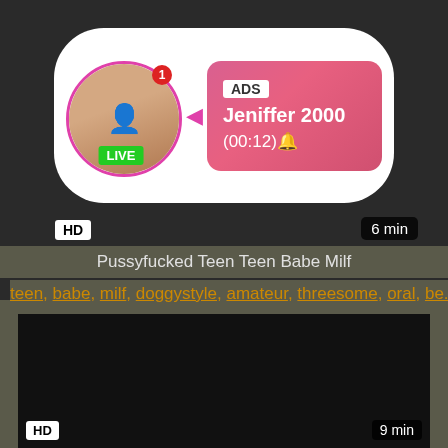[Figure (screenshot): Live cam advertisement card with avatar photo, LIVE badge, ADS label, username Jeniffer 2000, timestamp (00:12)]
HD
6 min
Pussyfucked Teen Teen Babe Milf
teen, babe, milf, doggystyle, amateur, threesome, oral, be...
[Figure (screenshot): Dark/black video thumbnail]
HD
9 min